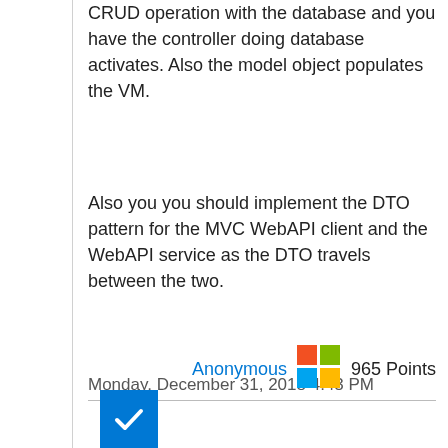CRUD operation with the database and you have the controller doing database activates. Also the model object populates the VM.
Also you you should implement the DTO pattern for the MVC WebAPI client and the WebAPI service as the DTO travels between the two.
Monday, December 31, 2018 4:43 PM
Anonymous  965 Points
[Figure (logo): Microsoft four-color logo (red, green, blue, yellow squares)]